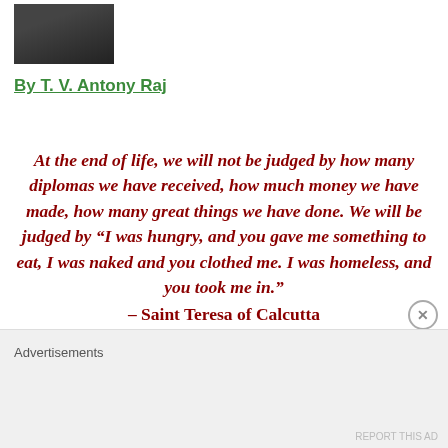[Figure (photo): Portrait photo of a person in dark clothing, upper body, dark background]
By T. V. Antony Raj
At the end of life, we will not be judged by how many diplomas we have received, how much money we have made, how many great things we have done. We will be judged by “I was hungry, and you gave me something to eat, I was naked and you clothed me. I was homeless, and you took me in.” – Saint Teresa of Calcutta
Advertisements